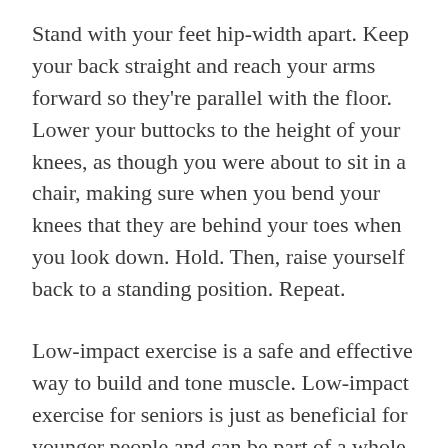Stand with your feet hip-width apart. Keep your back straight and reach your arms forward so they're parallel with the floor. Lower your buttocks to the height of your knees, as though you were about to sit in a chair, making sure when you bend your knees that they are behind your toes when you look down. Hold. Then, raise yourself back to a standing position. Repeat.
Low-impact exercise is a safe and effective way to build and tone muscle. Low-impact exercise for seniors is just as beneficial for younger people and can be part of a whole exercise regimen or worked into your daily life. Walking, taking the stairs, or getting up from your desk occasionally to get your body moving, can produce positive results without a lot of effort.